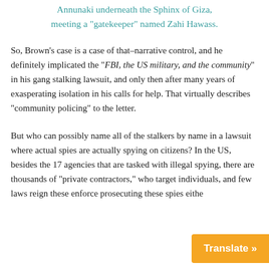Annunaki underneath the Sphinx of Giza, meeting a "gatekeeper" named Zahi Hawass.
So, Brown's case is a case of that–narrative control, and he definitely implicated the "FBI, the US military, and the community" in his gang stalking lawsuit, and only then after many years of exasperating isolation in his calls for help. That virtually describes "community policing" to the letter.
But who can possibly name all of the stalkers by name in a lawsuit where actual spies are actually spying on citizens? In the US, besides the 17 agencies that are tasked with illegal spying, there are thousands of "private contractors," who target individuals, and few laws reign these... enforce prosecuting these spies eithe...
Translate »